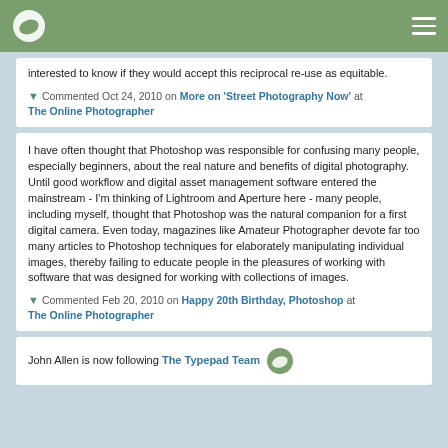Navigation bar with logo and menu
interested to know if they would accept this reciprocal re-use as equitable.
▼ Commented Oct 24, 2010 on More on 'Street Photography Now' at The Online Photographer
I have often thought that Photoshop was responsible for confusing many people, especially beginners, about the real nature and benefits of digital photography. Until good workflow and digital asset management software entered the mainstream - I'm thinking of Lightroom and Aperture here - many people, including myself, thought that Photoshop was the natural companion for a first digital camera. Even today, magazines like Amateur Photographer devote far too many articles to Photoshop techniques for elaborately manipulating individual images, thereby failing to educate people in the pleasures of working with software that was designed for working with collections of images.
▼ Commented Feb 20, 2010 on Happy 20th Birthday, Photoshop at The Online Photographer
John Allen is now following The Typepad Team